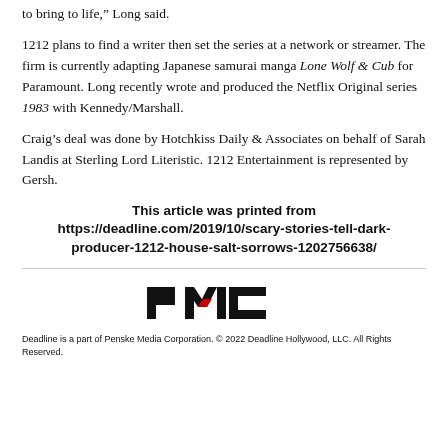to bring to life,” Long said.
1212 plans to find a writer then set the series at a network or streamer. The firm is currently adapting Japanese samurai manga Lone Wolf & Cub for Paramount. Long recently wrote and produced the Netflix Original series 1983 with Kennedy/Marshall.
Craig’s deal was done by Hotchkiss Daily & Associates on behalf of Sarah Landis at Sterling Lord Literistic. 1212 Entertainment is represented by Gersh.
This article was printed from https://deadline.com/2019/10/scary-stories-tell-dark-producer-1212-house-salt-sorrows-1202756638/
[Figure (logo): PMC (Penske Media Corporation) logo in black with red accent]
Deadline is a part of Penske Media Corporation. © 2022 Deadline Hollywood, LLC. All Rights Reserved.